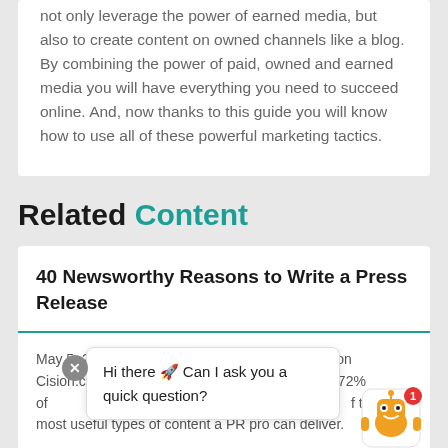not only leverage the power of earned media, but also to create content on owned channels like a blog. By combining the power of paid, owned and earned media you will have everything you need to succeed online. And, now thanks to this guide you will know how to use all of these powerful marketing tactics.
Related Content
40 Newsworthy Reasons to Write a Press Release
May 5, 2020 This piece was originally published on Cision.com. fact, 72% of the most useful types of content a PR pro can deliver.